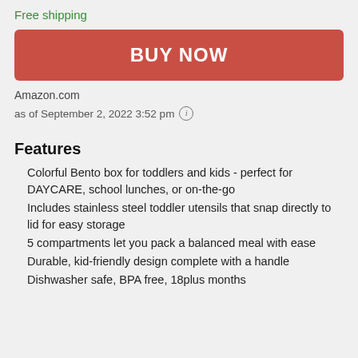Free shipping
BUY NOW
Amazon.com
as of September 2, 2022 3:52 pm ℹ
Features
Colorful Bento box for toddlers and kids - perfect for DAYCARE, school lunches, or on-the-go
Includes stainless steel toddler utensils that snap directly to lid for easy storage
5 compartments let you pack a balanced meal with ease
Durable, kid-friendly design complete with a handle
Dishwasher safe, BPA free, 18plus months